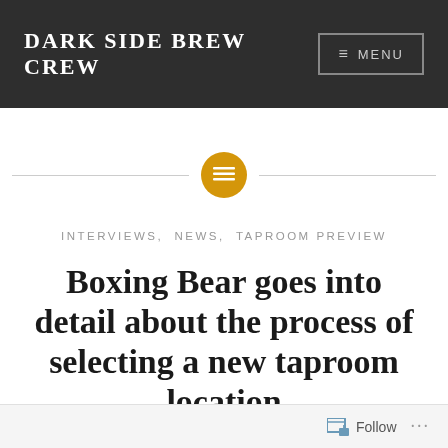DARK SIDE BREW CREW
[Figure (other): Decorative horizontal separator with a golden circle icon containing stacked lines]
INTERVIEWS, NEWS, TAPROOM PREVIEW
Boxing Bear goes into detail about the process of selecting a new taproom location
Follow